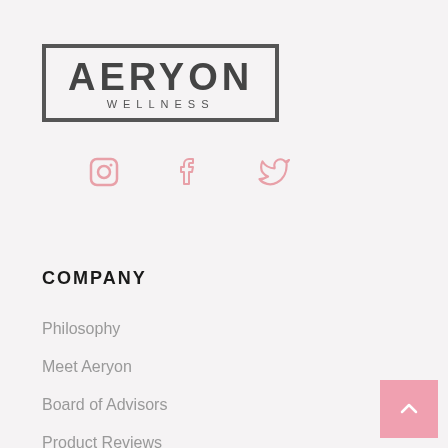[Figure (logo): Aeryon Wellness logo with rectangular border, large bold AERYON text and smaller WELLNESS subtitle]
[Figure (infographic): Three pink social media icons: Instagram, Facebook, Twitter]
COMPANY
Philosophy
Meet Aeryon
Board of Advisors
Product Reviews
FAQ
Support Our Community